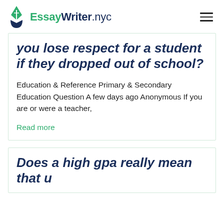EssayWriter.nyc
you lose respect for a student if they dropped out of school?
Education & Reference Primary & Secondary Education Question A few days ago Anonymous If you are or were a teacher,
Read more
Does a high gpa really mean that u